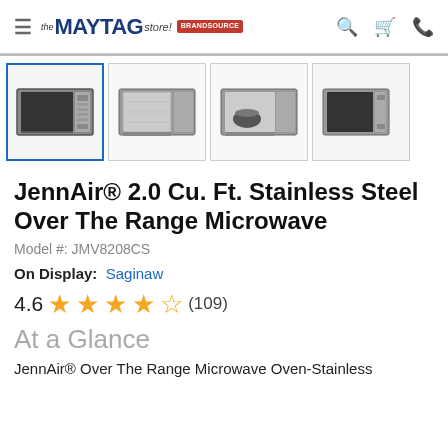the MAYTAG store! BRAND SOURCE
[Figure (photo): Four product thumbnail images of JennAir Over The Range Microwave - front view selected, door open views, and side view]
JennAir® 2.0 Cu. Ft. Stainless Steel Over The Range Microwave
Model #: JMV8208CS
On Display: Saginaw
4.6 ★★★★★ (109)
At a Glance
JennAir® Over The Range Microwave Oven-Stainless